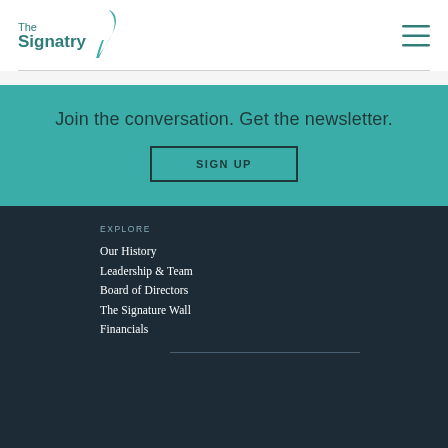[Figure (logo): The Signatry logo with teal feather quill icon and teal text]
Join the conversation. Get the newsletter.
SIGN UP
EXPLORE
Our History
Leadership & Team
Board of Directors
The Signature Wall
Financials